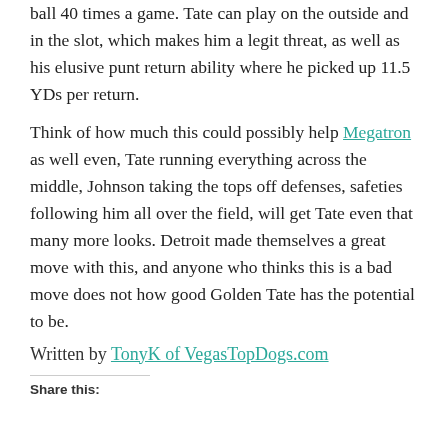ball 40 times a game. Tate can play on the outside and in the slot, which makes him a legit threat, as well as his elusive punt return ability where he picked up 11.5 YDs per return.
Think of how much this could possibly help Megatron as well even, Tate running everything across the middle, Johnson taking the tops off defenses, safeties following him all over the field, will get Tate even that many more looks. Detroit made themselves a great move with this, and anyone who thinks this is a bad move does not how good Golden Tate has the potential to be.
Written by TonyK of VegasTopDogs.com
Share this: